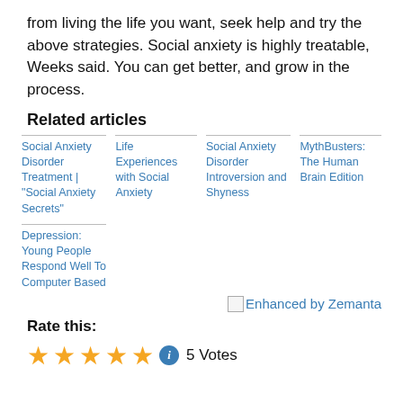from living the life you want, seek help and try the above strategies. Social anxiety is highly treatable, Weeks said. You can get better, and grow in the process.
Related articles
Social Anxiety Disorder Treatment | "Social Anxiety Secrets"
Life Experiences with Social Anxiety
Social Anxiety Disorder Introversion and Shyness
MythBusters: The Human Brain Edition
Depression: Young People Respond Well To Computer Based
[Figure (other): Enhanced by Zemanta logo/badge]
Rate this:
5 Votes (5 stars)